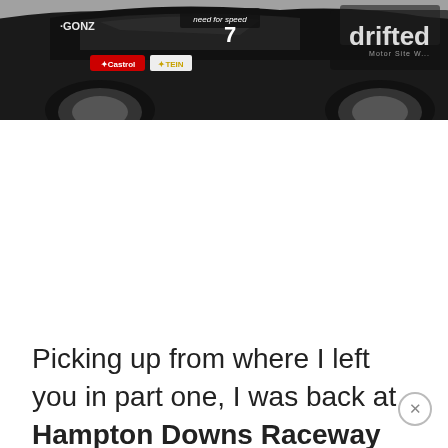[Figure (photo): Top portion of a black drift car with sponsor logos including Castrol and TEIN visible, grey pavement background, with 'drifted' logo watermark in top right corner]
Picking up from where I left you in part one, I was back at Hampton Downs Raceway for the business end of the Rockstar Energy D1NZ